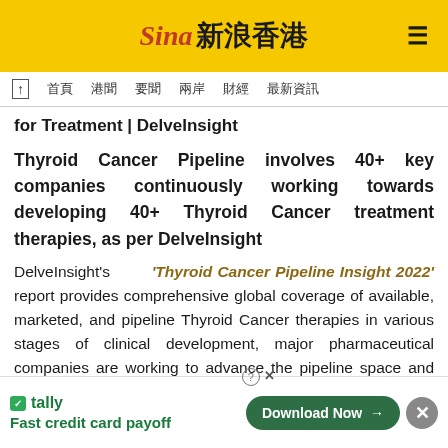新浪香港 (Sina Hong Kong) — navigation header
for Treatment | DelveInsight
Thyroid Cancer Pipeline involves 40+ key companies continuously working towards developing 40+ Thyroid Cancer treatment therapies, as per DelveInsight
DelveInsight's 'Thyroid Cancer Pipeline Insight 2022' report provides comprehensive global coverage of available, marketed, and pipeline Thyroid Cancer therapies in various stages of clinical development, major pharmaceutical companies are working to advance the pipeline space and future growth potential of the Thyroid Cancer pipeline